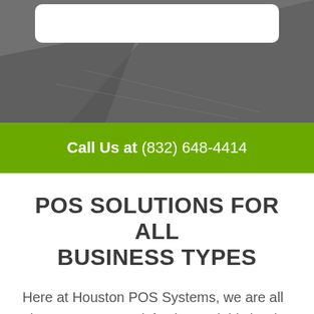[Figure (photo): Dark gray/charcoal background photo showing a hand and papers, partially visible at top of page with a white rounded card overlay at the top center]
Call Us at (832) 648-4414
POS SOLUTIONS FOR ALL BUSINESS TYPES
Here at Houston POS Systems, we are all about customer satisfaction and this is why we